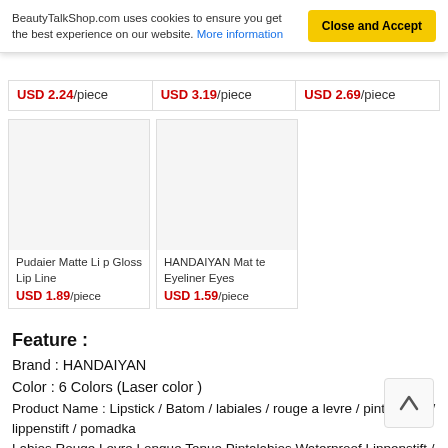BeautyTalkShop.com uses cookies to ensure you get the best experience on our website. More information
Close and Accept
| USD 2.24/piece | USD 3.19/piece | USD 2.69/piece |
[Figure (other): Product image placeholder for Pudaier Matte Lip Gloss Lip Line]
Pudaier Matte Lip Gloss Lip Line
USD 1.89/piece
[Figure (other): Product image placeholder for HANDAIYAN Matte Eyeliner Eyes]
HANDAIYAN Matte Eyeliner Eyes
USD 1.59/piece
Feature :
Brand : HANDAIYAN
Color : 6 Colors (Laser color )
Product Name : Lipstick / Batom / labiales / rouge a levre / pintalabios / lippenstift / pomadka
Labios Rouge Levre Longue Tenue Pintalabios Waterproof Lippenstift / Eyeshadow Liquid Glitter
Effects It was of the solution Shimmer Glitter Glow L...